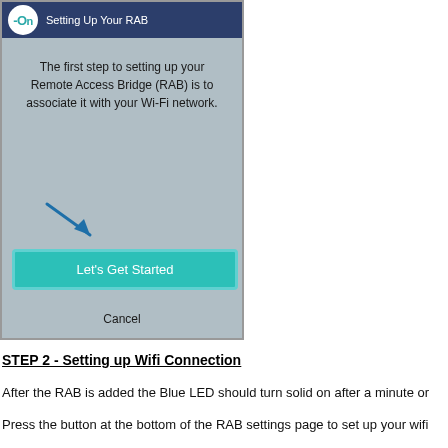[Figure (screenshot): Mobile app screenshot showing 'Setting Up Your RAB' screen with teal header, instructional text about associating RAB with Wi-Fi network, a blue arrow pointing down-right, a teal 'Let's Get Started' button, and a Cancel text link at the bottom.]
STEP 2 - Setting up Wifi Connection
After the RAB is added the Blue LED should turn solid on after a minute or
Press the button at the bottom of the RAB settings page to set up your wifi